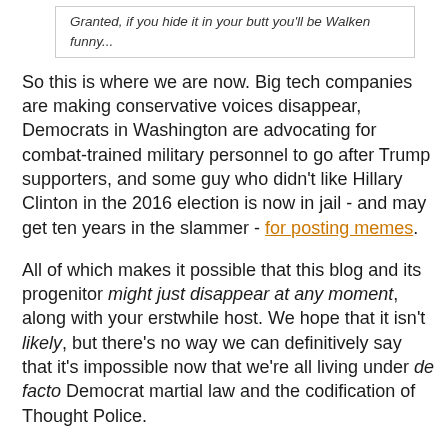Granted, if you hide it in your butt you'll be Walken funny...
So this is where we are now. Big tech companies are making conservative voices disappear, Democrats in Washington are advocating for combat-trained military personnel to go after Trump supporters, and some guy who didn't like Hillary Clinton in the 2016 election is now in jail - and may get ten years in the slammer - for posting memes.
All of which makes it possible that this blog and its progenitor might just disappear at any moment, along with your erstwhile host. We hope that it isn't likely, but there's no way we can definitively say that it's impossible now that we're all living under de facto Democrat martial law and the codification of Thought Police.
Which is why we've backed up everything and want to share it with you, right here, right now - so there's at least a chance that an accurate (and funny!) historical record can survive whatever fresh Hell we're in for.
To get a lovely PDF file of all of the "Hope n' Change" blog, just click this link and the file will download. Note: it's about